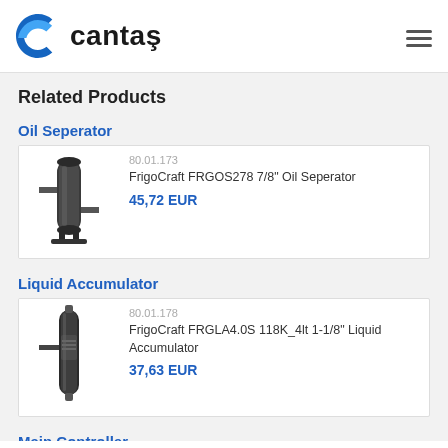[Figure (logo): Cantas company logo with blue C icon and bold cantas text]
Related Products
Oil Seperator
[Figure (photo): Photo of FrigoCraft FRGOS278 7/8 inch Oil Seperator product]
80.01.173
FrigoCraft FRGOS278 7/8" Oil Seperator
45,72 EUR
Liquid Accumulator
[Figure (photo): Photo of FrigoCraft FRGLA4.0S 118K_4lt 1-1/8 inch Liquid Accumulator product]
80.01.178
FrigoCraft FRGLA4.0S 118K_4lt 1-1/8" Liquid Accumulator
37,63 EUR
Main Controller
30.70.050